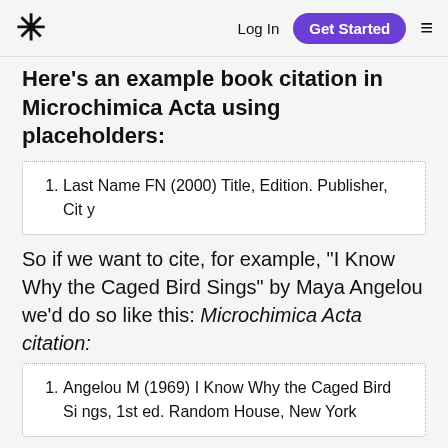* Log In  Get Started  ≡
Here's an example book citation in Microchimica Acta using placeholders:
1. Last Name FN (2000) Title, Edition. Publisher, City
So if we want to cite, for example, “I Know Why the Caged Bird Sings” by Maya Angelou we’d do so like this: Microchimica Acta citation:
1. Angelou M (1969) I Know Why the Caged Bird Sings, 1st ed. Random House, New York
And an in-text citation book citation in